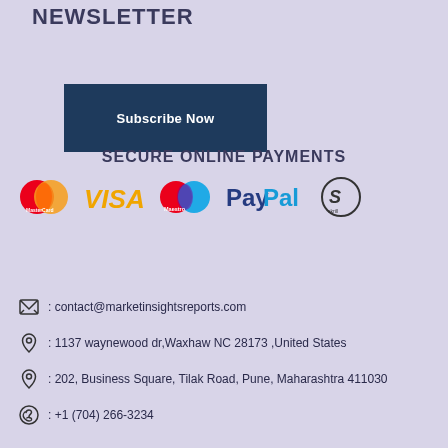NEWSLETTER
Subscribe Now
SECURE ONLINE PAYMENTS
[Figure (logo): Payment method logos: MasterCard, VISA, Maestro, PayPal, and Skrill icons]
: contact@marketinsightsreports.com
: 1137 waynewood dr,Waxhaw NC 28173 ,United States
: 202, Business Square, Tilak Road, Pune, Maharashtra 411030
: +1 (704) 266-3234